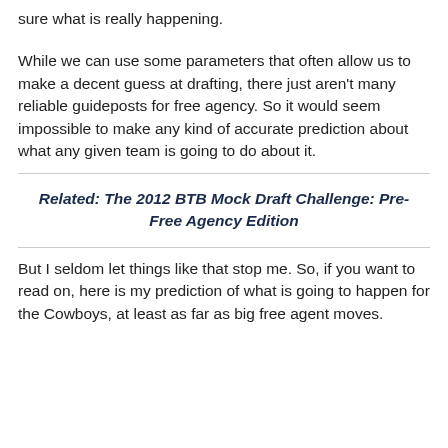sure what is really happening.
While we can use some parameters that often allow us to make a decent guess at drafting, there just aren't many reliable guideposts for free agency. So it would seem impossible to make any kind of accurate prediction about what any given team is going to do about it.
Related: The 2012 BTB Mock Draft Challenge: Pre-Free Agency Edition
But I seldom let things like that stop me. So, if you want to read on, here is my prediction of what is going to happen for the Cowboys, at least as far as big free agent moves.